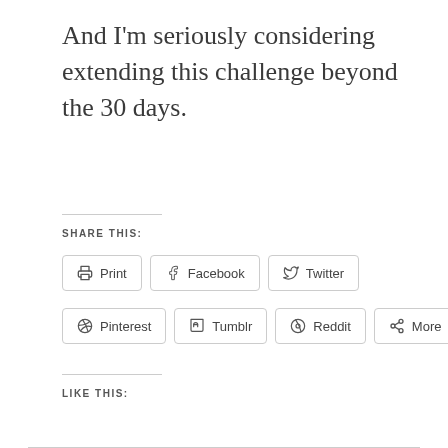And I'm seriously considering extending this challenge beyond the 30 days.
SHARE THIS:
[Figure (screenshot): Social share buttons row 1: Print, Facebook, Twitter]
[Figure (screenshot): Social share buttons row 2: Pinterest, Tumblr, Reddit, More]
LIKE THIS: